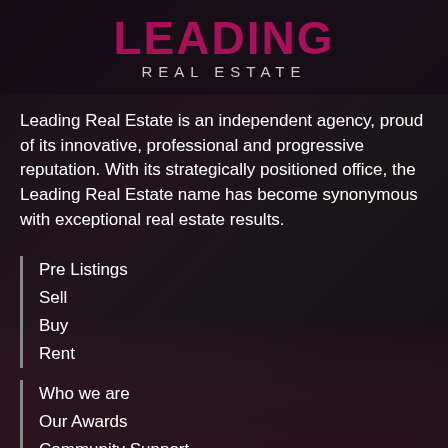[Figure (photo): Leading Real Estate agency office interior background photo with dark overlay, showing reception area with pink/magenta carpet and dark walls]
Leading REAL ESTATE
Leading Real Estate is an independent agency, proud of its innovative, professional and progressive reputation. With its strategically positioned office, the Leading Real Estate name has become synonymous with exceptional real estate results.
Pre Listings
Sell
Buy
Rent
Who we are
Our Awards
Community Support
Maintenance request